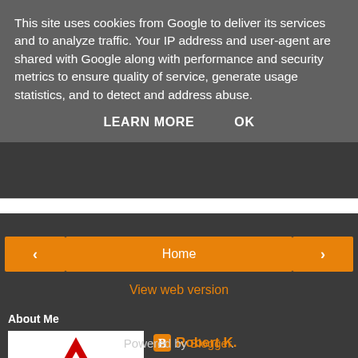This site uses cookies from Google to deliver its services and to analyze traffic. Your IP address and user-agent are shared with Google along with performance and security metrics to ensure quality of service, generate usage statistics, and to detect and address abuse.
LEARN MORE    OK
Home
View web version
About Me
[Figure (illustration): Red and white warning triangle road sign with a black lightning bolt symbol inside]
Robert K.
View my complete profile
Powered by Blogger.